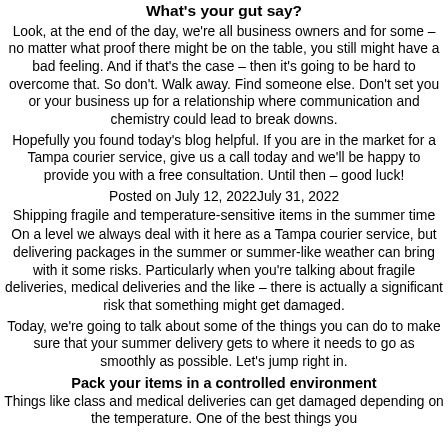What's your gut say?
Look, at the end of the day, we're all business owners and for some – no matter what proof there might be on the table, you still might have a bad feeling. And if that's the case – then it's going to be hard to overcome that. So don't. Walk away. Find someone else. Don't set you or your business up for a relationship where communication and chemistry could lead to break downs.
Hopefully you found today's blog helpful. If you are in the market for a Tampa courier service, give us a call today and we'll be happy to provide you with a free consultation. Until then – good luck!
Posted on July 12, 2022July 31, 2022
Shipping fragile and temperature-sensitive items in the summer time
On a level we always deal with it here as a Tampa courier service, but delivering packages in the summer or summer-like weather can bring with it some risks. Particularly when you're talking about fragile deliveries, medical deliveries and the like – there is actually a significant risk that something might get damaged.
Today, we're going to talk about some of the things you can do to make sure that your summer delivery gets to where it needs to go as smoothly as possible. Let's jump right in.
Pack your items in a controlled environment
Things like class and medical deliveries can get damaged depending on the temperature. One of the best things you